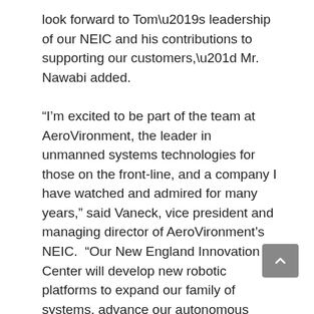look forward to Tom’s leadership of our NEIC and his contributions to supporting our customers,” Mr. Nawabi added.
“I’m excited to be part of the team at AeroVironment, the leader in unmanned systems technologies for those on the front-line, and a company I have watched and admired for many years,” said Vaneck, vice president and managing director of AeroVironment’s NEIC.  “Our New England Innovation Center will develop new robotic platforms to expand our family of systems, advance our autonomous capabilities and build on AeroVironment’s history of delivering innovative solutions that help customers proceed with certainty.”
Vaneck served as vice president of InstantEye Robotics, a